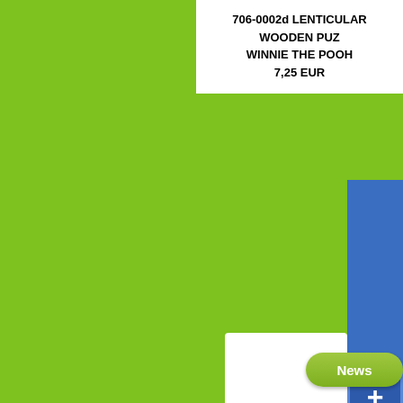706-0002d LENTICULAR WOODEN PUZ
WINNIE THE POOH
7,25 EUR
[Figure (screenshot): Blue vertical button/panel on right edge of screen]
[Figure (screenshot): White panel with close (X) button icon, partially visible]
[Figure (screenshot): Green 'News' button at bottom right]